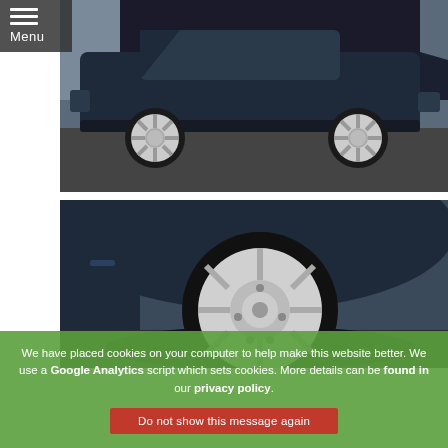[Figure (photo): Side view of a dark blue SUV/car parked on a road, showing both wheels with silver five-spoke alloy rims.]
[Figure (photo): Close-up of a flat tire on the rear wheel of a dark blue SUV, showing a deflated tire with a white five-spoke alloy rim.]
We have placed cookies on your computer to help make this website better. We use a Google Analytics script which sets cookies. More details can be found in our privacy policy.
Do not show this message again